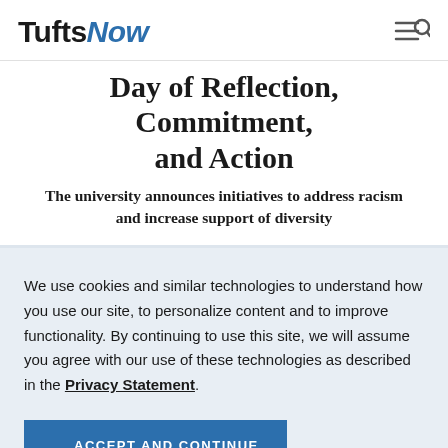Tufts Now
Day of Reflection, Commitment, and Action
The university announces initiatives to address racism and increase support of diversity
We use cookies and similar technologies to understand how you use our site, to personalize content and to improve functionality. By continuing to use this site, we will assume you agree with our use of these technologies as described in the Privacy Statement.
ACCEPT AND CONTINUE